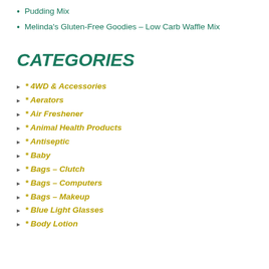Pudding Mix
Melinda's Gluten-Free Goodies – Low Carb Waffle Mix
CATEGORIES
* 4WD & Accessories
* Aerators
* Air Freshener
* Animal Health Products
* Antiseptic
* Baby
* Bags – Clutch
* Bags – Computers
* Bags – Makeup
* Blue Light Glasses
* Body Lotion